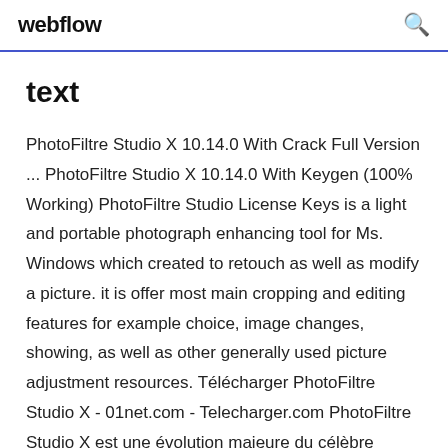webflow
text
PhotoFiltre Studio X 10.14.0 With Crack Full Version ... PhotoFiltre Studio X 10.14.0 With Keygen (100% Working) PhotoFiltre Studio License Keys is a light and portable photograph enhancing tool for Ms. Windows which created to retouch as well as modify a picture. it is offer most main cropping and editing features for example choice, image changes, showing, as well as other generally used picture adjustment resources. Télécharger PhotoFiltre Studio X - 01net.com - Telecharger.com PhotoFiltre Studio X est une évolution majeure du célèbre logiciel de retouche. De nombreuses